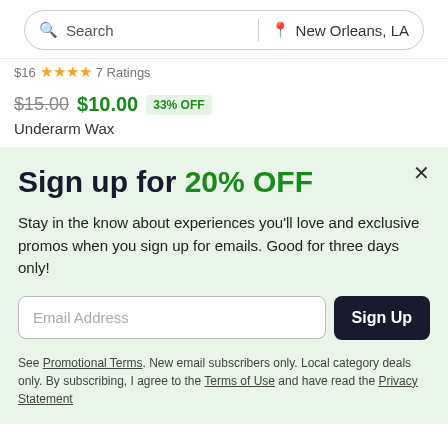[Figure (screenshot): Search bar with 'Search' text and location 'New Orleans, LA']
$16 ★★★★ 7 Ratings
$15.00  $10.00  33% OFF
Underarm Wax
Sign up for 20% OFF
Stay in the know about experiences you'll love and exclusive promos when you sign up for emails. Good for three days only!
Email Address
Sign Up
See Promotional Terms. New email subscribers only. Local category deals only. By subscribing, I agree to the Terms of Use and have read the Privacy Statement